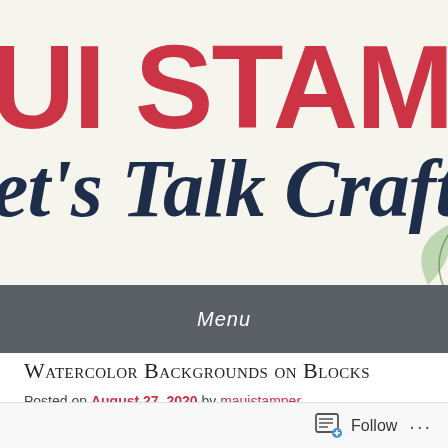[Figure (screenshot): Blog header banner with large red bold text 'MAUI STAMPER' partially visible cropped on left, and dark navy script text 'let's Talk Crafty' overlaid, on a light cream background with floral decoration hints]
Menu
Watercolor Backgrounds on Blocks
Posted on August 27, 2020 by mauistamper
Follow ...